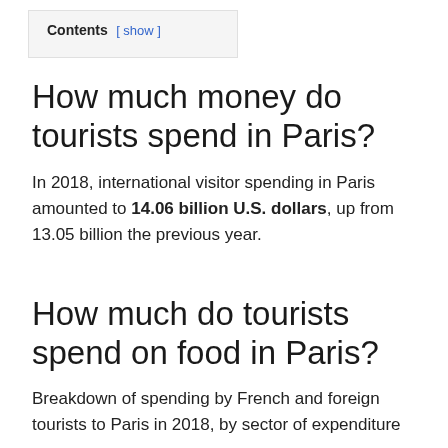Contents [ show ]
How much money do tourists spend in Paris?
In 2018, international visitor spending in Paris amounted to 14.06 billion U.S. dollars, up from 13.05 billion the previous year.
How much do tourists spend on food in Paris?
Breakdown of spending by French and foreign tourists to Paris in 2018, by sector of expenditure